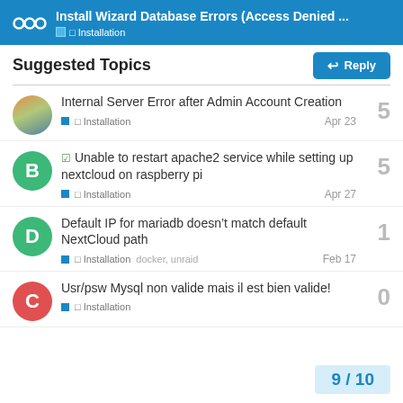Install Wizard Database Errors (Access Denied ...
Suggested Topics
Internal Server Error after Admin Account Creation - Installation - Apr 23 - 5 replies
Unable to restart apache2 service while setting up nextcloud on raspberry pi - Installation - Apr 27 - 5 replies
Default IP for mariadb doesn’t match default NextCloud path - Installation, docker, unraid - Feb 17 - 1 reply
Usr/psw Mysql non valide mais il est bien valide! - Installation - 0 replies